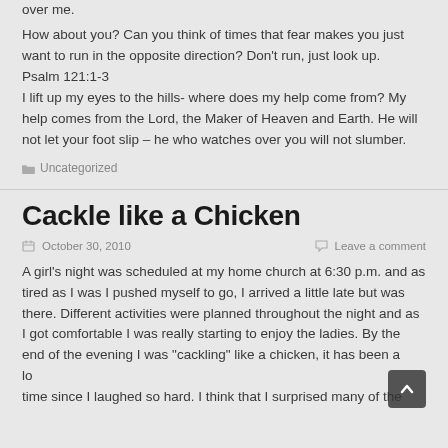over me.
How about you? Can you think of times that fear makes you just want to run in the opposite direction? Don't run, just look up. Psalm 121:1-3
I lift up my eyes to the hills- where does my help come from? My help comes from the Lord, the Maker of Heaven and Earth. He will not let your foot slip – he who watches over you will not slumber.
Uncategorized
Cackle like a Chicken
October 30, 2010
Leave a comment
A girl's night was scheduled at my home church at 6:30 p.m. and as tired as I was I pushed myself to go, I arrived a little late but was there. Different activities were planned throughout the night and as I got comfortable I was really starting to enjoy the ladies. By the end of the evening I was "cackling" like a chicken, it has been a long time since I laughed so hard. I think that I surprised many of the